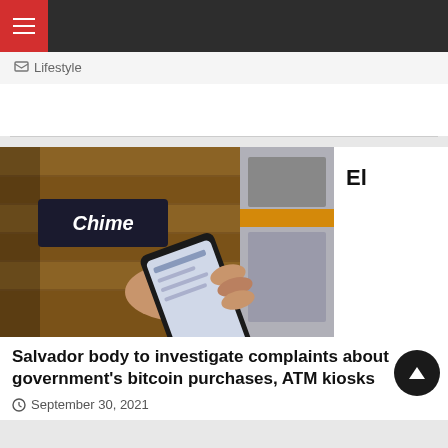≡
Lifestyle
[Figure (photo): A hand holding a smartphone near a wooden wall with a Chime sign, showing a mobile payment or Bitcoin wallet app screen.]
El
Salvador body to investigate complaints about government's bitcoin purchases, ATM kiosks
September 30, 2021